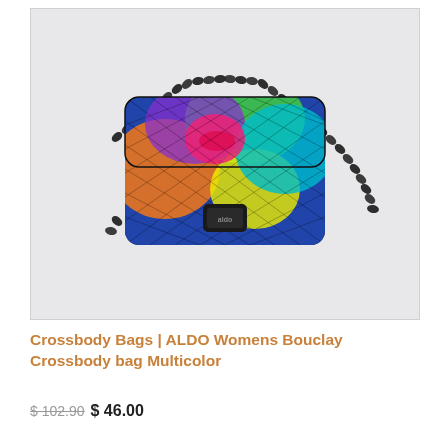[Figure (photo): A colorful multicolor quilted crossbody bag with graffiti-style print featuring bold colors (blue, green, yellow, orange, pink, purple) and a black chain strap, displayed on a light gray background. The bag has a black clasp closure with the ALDO logo.]
Crossbody Bags | ALDO Womens Bouclay Crossbody bag Multicolor
$ 102.90 $ 46.00